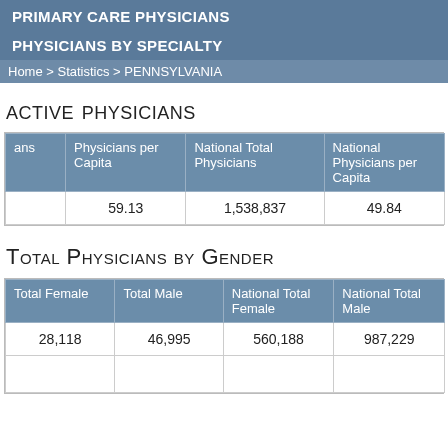PRIMARY CARE PHYSICIANS
PHYSICIANS BY SPECIALTY
Home > Statistics > PENNSYLVANIA
Active Physicians
| ans | Physicians per Capita | National Total Physicians | National Physicians per Capita |
| --- | --- | --- | --- |
|  | 59.13 | 1,538,837 | 49.84 |
Total Physicians by Gender
| Total Female | Total Male | National Total Female | National Total Male |
| --- | --- | --- | --- |
| 28,118 | 46,995 | 560,188 | 987,229 |